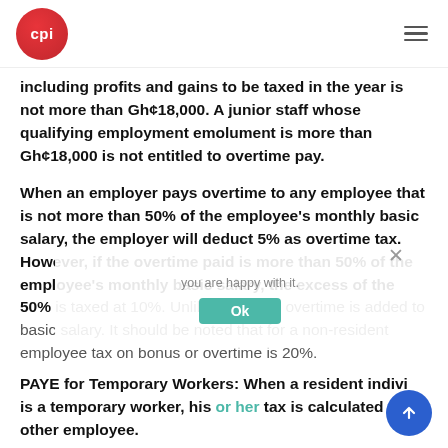CPI logo and navigation menu
including profits and gains to be taxed in the year is not more than Gh¢18,000. A junior staff whose qualifying employment emolument is more than Gh¢18,000 is not entitled to overtime pay.
When an employer pays overtime to any employee that is not more than 50% of the employee's monthly basic salary, the employer will deduct 5% as overtime tax. However, if the overtime paid is more than 50% of the employee's monthly basic salary, the excess of the 50% is taxed at 10%. Unlike bonus no overtime is added to basic salary. It should be noted that for a non-resident employee tax on bonus or overtime is 20%.
PAYE for Temporary Workers:
When a resident individual is a temporary worker, his or her tax is calculated as other employee.